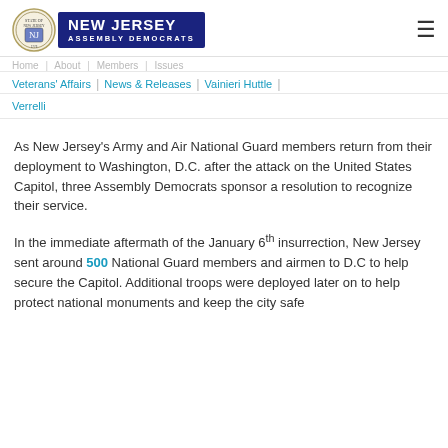[Figure (logo): New Jersey Assembly Democrats logo with state seal and navy blue badge]
Veterans' Affairs | News & Releases | Vainieri Huttle | Verrelli
As New Jersey's Army and Air National Guard members return from their deployment to Washington, D.C. after the attack on the United States Capitol, three Assembly Democrats sponsor a resolution to recognize their service.
In the immediate aftermath of the January 6th insurrection, New Jersey sent around 500 National Guard members and airmen to D.C to help secure the Capitol. Additional troops were deployed later on to help protect national monuments and keep the city safe